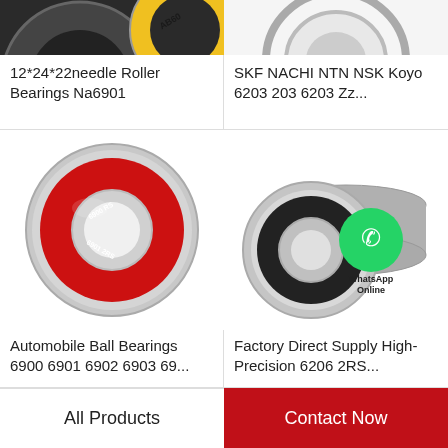[Figure (photo): Partial top view of needle roller bearing Na6901 with yellow label, cut off at top]
12*24*22needle Roller Bearings Na6901
[Figure (photo): Partial top view of SKF NACHI NTN NSK Koyo 6203 ball bearing, cut off at top]
SKF NACHI NTN NSK Koyo 6203 203 6203 Zz...
[Figure (photo): Red rubber sealed automobile ball bearing viewed from front]
Automobile Ball Bearings 6900 6901 6902 6903 69...
[Figure (photo): Gray double-row ball bearing with WhatsApp Online watermark overlay]
Factory Direct Supply High-Precision 6206 2RS...
All Products
Contact Now